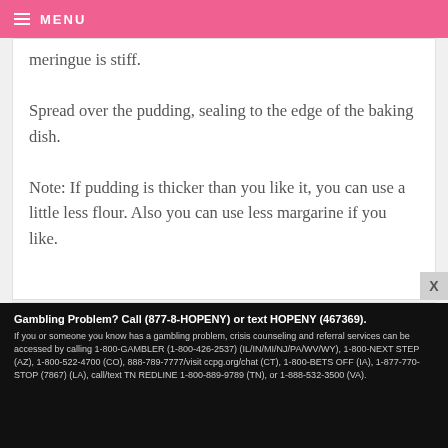MENU
meringue is stiff. Spread over the pudding, sealing to the edge of the baking dish.

Note: If pudding is thicker than you like it, you can use a little less flour. Also you can use less margarine if you like.
GIZ — JULY 8, 2008 @ 5:44 PM  REPLY
Gambling Problem? Call (877-8-HOPENY) or text HOPENY (467369). If you or someone you know has a gambling problem, crisis counseling and referral services can be accessed by calling 1-800-GAMBLER (1-800-426-2537) (IL/IN/MI/NJ/PA/WV/WY), 1-800-NEXT STEP (AZ), 1-800-522-4700 (CO), 888-789-7777/visit ccpg.org/chat (CT), 1-800-BETS OFF (IA), 1-877-770-STOP (7867) (LA), call/text TN REDLINE 1-800-889-9789 (TN), or 1-888-532-3500 (VA).